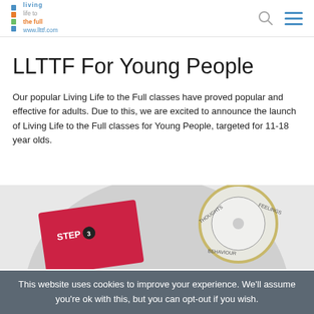LLTTF – living life to the full www.llttf.com
LLTTF For Young People
Our popular Living Life to the Full classes have proved popular and effective for adults. Due to this, we are excited to announce the launch of Living Life to the Full classes for Young People, targeted for 11-18 year olds.
[Figure (photo): Physical materials showing LLTTF step 3 booklet and a circular dial with 'Thoughts', 'Feelings', 'Behaviour' labels on a grey disc background]
This website uses cookies to improve your experience. We'll assume you're ok with this, but you can opt-out if you wish.